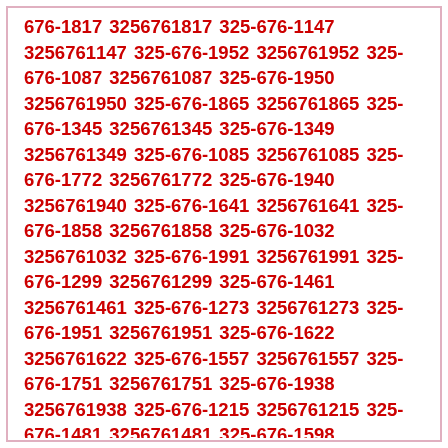676-1817 3256761817 325-676-1147 3256761147 325-676-1952 3256761952 325-676-1087 3256761087 325-676-1950 3256761950 325-676-1865 3256761865 325-676-1345 3256761345 325-676-1349 3256761349 325-676-1085 3256761085 325-676-1772 3256761772 325-676-1940 3256761940 325-676-1641 3256761641 325-676-1858 3256761858 325-676-1032 3256761032 325-676-1991 3256761991 325-676-1299 3256761299 325-676-1461 3256761461 325-676-1273 3256761273 325-676-1951 3256761951 325-676-1622 3256761622 325-676-1557 3256761557 325-676-1751 3256761751 325-676-1938 3256761938 325-676-1215 3256761215 325-676-1481 3256761481 325-676-1598 3256761598 325-676-1491 3256761491 325-676-1370 3256761370 325-676-1284 3256761284 325-676-1130 3256761130 325-676-1602 3256761602 325-676-1696 3256761696 325-676-1965 3256761965 325-676-1302 3256761302 325-676-1289